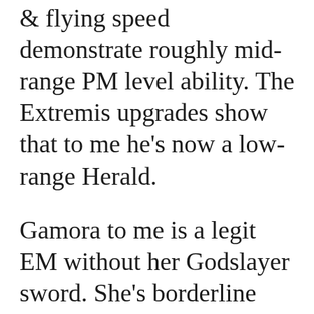& flying speed demonstrate roughly mid-range PM level ability. The Extremis upgrades show that to me he's now a low-range Herald.
Gamora to me is a legit EM without her Godslayer sword. She's borderline PM w/o the sword, IMO, but give her that sword and MANY argu that she's a solid upper PM with how